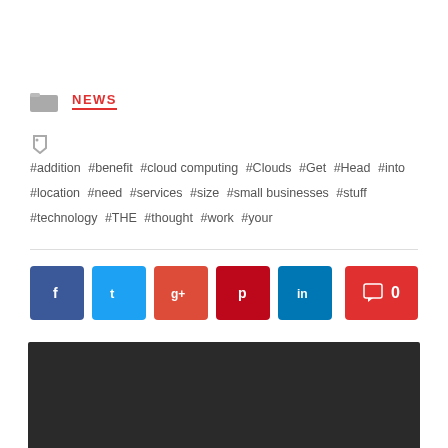NEWS
#addition #benefit #cloud computing #Clouds #Get #Head #into #location #need #services #size #small businesses #stuff #technology #THE #thought #work #your
[Figure (other): Social media share buttons: Facebook, Twitter, Google+, Pinterest, LinkedIn; and a comment count button showing 0]
[Figure (other): Dark/black banner image area]
× Shop iPhone 6 ^